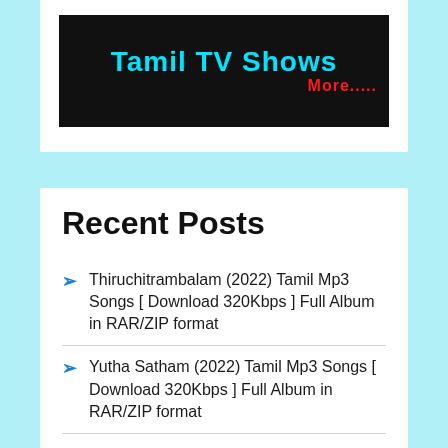[Figure (screenshot): Black banner image showing 'Tamil TV Shows' text in cyan/blue with 'More.....' in red below it on the right side]
Recent Posts
Thiruchitrambalam (2022) Tamil Mp3 Songs [ Download 320Kbps ] Full Album in RAR/ZIP format
Yutha Satham (2022) Tamil Mp3 Songs [ Download 320Kbps ] Full Album in RAR/ZIP format
Kaathuvaakula Rendu Kaadhal (2022) Tamil Mp3 Songs [ Download 320Kbps ] Full Album in RAR/ZIP format
Beast (2022) Tamil Mp3 Songs [ Download